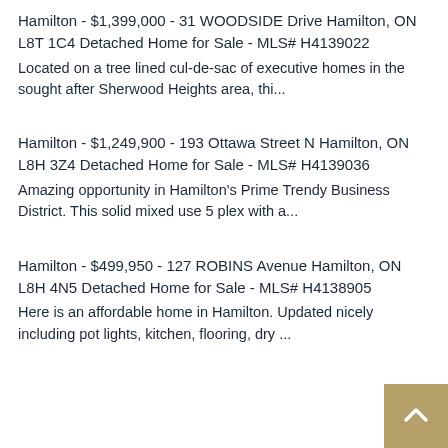Hamilton – $1,399,000 – 31 WOODSIDE Drive Hamilton, ON L8T 1C4 Detached Home for Sale – MLS# H4139022
Located on a tree lined cul-de-sac of executive homes in the sought after Sherwood Heights area, thi...
Hamilton – $1,249,900 – 193 Ottawa Street N Hamilton, ON L8H 3Z4 Detached Home for Sale – MLS# H4139036
Amazing opportunity in Hamilton's Prime Trendy Business District. This solid mixed use 5 plex with a...
Hamilton – $499,950 – 127 ROBINS Avenue Hamilton, ON L8H 4N5 Detached Home for Sale – MLS# H4138905
Here is an affordable home in Hamilton. Updated nicely including pot lights, kitchen, flooring, dry ...